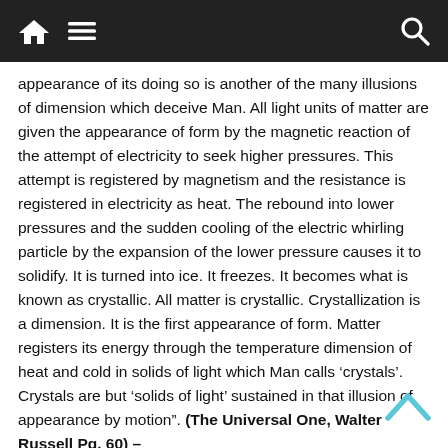Navigation bar with home, menu, and search icons
appearance of its doing so is another of the many illusions of dimension which deceive Man. All light units of matter are given the appearance of form by the magnetic reaction of the attempt of electricity to seek higher pressures. This attempt is registered by magnetism and the resistance is registered in electricity as heat. The rebound into lower pressures and the sudden cooling of the electric whirling particle by the expansion of the lower pressure causes it to solidify. It is turned into ice. It freezes. It becomes what is known as crystallic. All matter is crystallic. Crystallization is a dimension. It is the first appearance of form. Matter registers its energy through the temperature dimension of heat and cold in solids of light which Man calls ‘crystals’. Crystals are but ‘solids of light’ sustained in that illusion of appearance by motion”. (The Universal One, Walter Russell Pg. 60) –